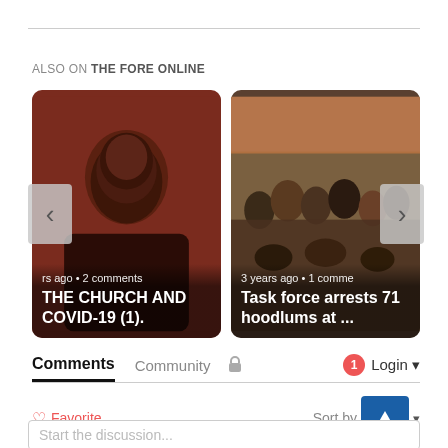ALSO ON THE FORE ONLINE
[Figure (photo): Two article cards in a carousel. Left card: portrait photo of a man against dark red/brown background, with text overlay 'rs ago • 2 comments' and title 'THE CHURCH AND COVID-19 (1).'. Right card: group photo of many people outdoors, with text overlay '3 years ago • 1 comme' and title 'Task force arrests 71 hoodlums at ...' Navigation arrows on left and right sides.]
Comments  Community  🔒  1  Login
♡ Favorite    Sort by ▲ ▼
Start the discussion...